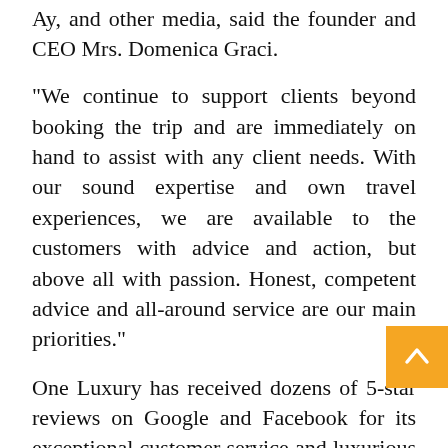Ay, and other media, said the founder and CEO Mrs. Domenica Graci.
“We continue to support clients beyond booking the trip and are immediately on hand to assist with any client needs. With our sound expertise and own travel experiences, we are available to the customers with advice and action, but above all with passion. Honest, competent advice and all-around service are our main priorities.”
One Luxury has received dozens of 5-star reviews on Google and Facebook for its exceptional customer service and luxurious offers. According to Sarah Engels (German Singer), “When you find a tour operator like One Luxury, where you not only feel well-advised but where you can simply be that you are traveling to the most beautiful places in the world, and experiencing the most beautiful